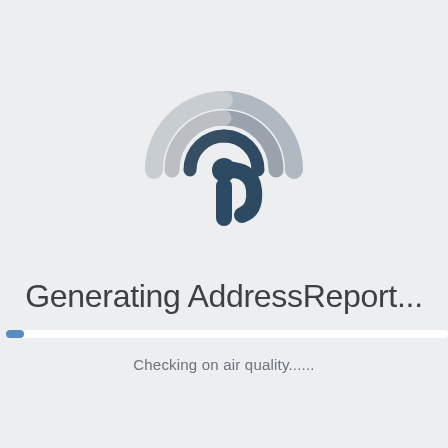[Figure (logo): A circular radar/signal icon with concentric arc rings in light gray and a dark navy blue pin/cursor shape in the center, resembling a location or radio signal logo.]
Generating AddressReport...
Checking on air quality......